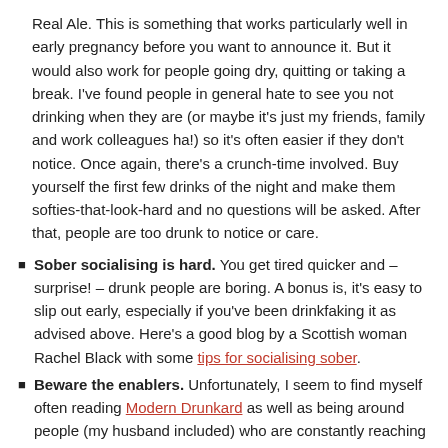Real Ale. This is something that works particularly well in early pregnancy before you want to announce it. But it would also work for people going dry, quitting or taking a break. I've found people in general hate to see you not drinking when they are (or maybe it's just my friends, family and work colleagues ha!) so it's often easier if they don't notice. Once again, there's a crunch-time involved. Buy yourself the first few drinks of the night and make them softies-that-look-hard and no questions will be asked. After that, people are too drunk to notice or care.
Sober socialising is hard. You get tired quicker and – surprise! – drunk people are boring. A bonus is, it's easy to slip out early, especially if you've been drinkfaking it as advised above. Here's a good blog by a Scottish woman Rachel Black with some tips for socialising sober.
Beware the enablers. Unfortunately, I seem to find myself often reading Modern Drunkard as well as being around people (my husband included) who are constantly reaching for a bottle, which makes it difficult, if I'm honest, for me to cry off the sweet stuff. I'm not saying it's their fault, I'm conscious I